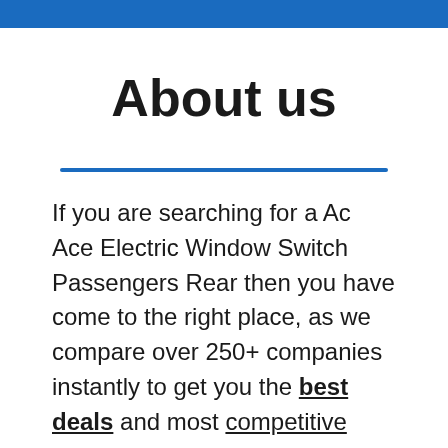About us
If you are searching for a Ac Ace Electric Window Switch Passengers Rear then you have come to the right place, as we compare over 250+ companies instantly to get you the best deals and most competitive prices from around the UK in minutes. You wont be able to find your Ac Ace Electric Window Switch Passengers Rear